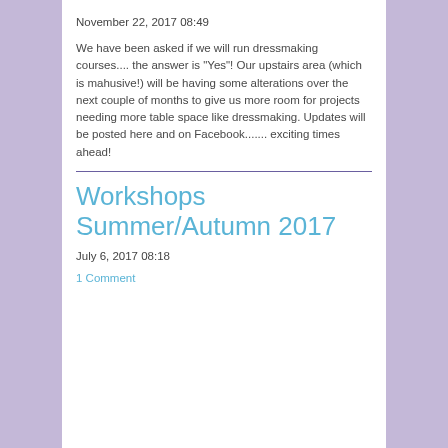November 22, 2017 08:49
We have been asked if we will run dressmaking courses.... the answer is "Yes"! Our upstairs area (which is mahusive!) will be having some alterations over the next couple of months to give us more room for projects needing more table space like dressmaking. Updates will be posted here and on Facebook....... exciting times ahead!
Workshops Summer/Autumn 2017
July 6, 2017 08:18
1 Comment